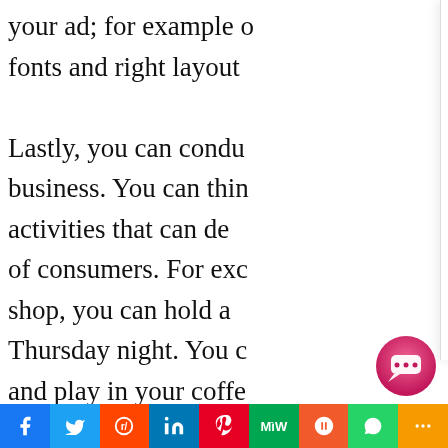your ad; for example... fonts and right layout...
Lastly, you can conduct... business. You can thin... activities that can de... of consumers. For exc... shop, you can hold a... Thursday night. You c... and play in your coffe... Not only will you be able to promote your business to a larger scale, but you will also be able to help local artists and bands at the same time.
[Figure (screenshot): Chat overlay panel with text: HOOT! Hello! I am Ask8 The Owl Have any questions? I'm happy to help. We specialize in Real Estate & Local Service & Local Retail Businesses. If You Are a Keller Willaims Agent, Please ask any KW Command Questions As well. If we don't respond right away, please leave some contact info and we will respond as soon as we get back.]
[Figure (other): Social share bar at bottom with Facebook, Twitter, Reddit, LinkedIn, Pinterest, MeWe, Mix, WhatsApp, More buttons]